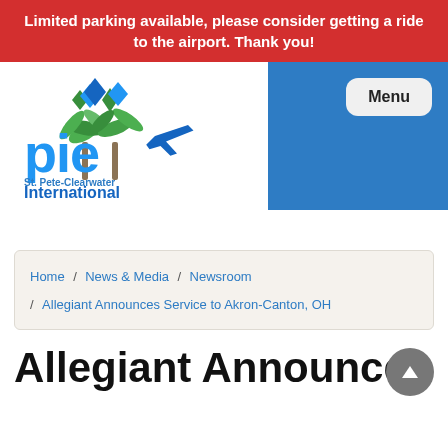Limited parking available, please consider getting a ride to the airport. Thank you!
[Figure (logo): St. Pete-Clearwater International Airport logo with palm trees and airplane icon. Text reads 'pie St. Pete-Clearwater International' and 'TAMPA BAY THE EASY WAY']
Menu
Home / News & Media / Newsroom / Allegiant Announces Service to Akron-Canton, OH
Allegiant Announces